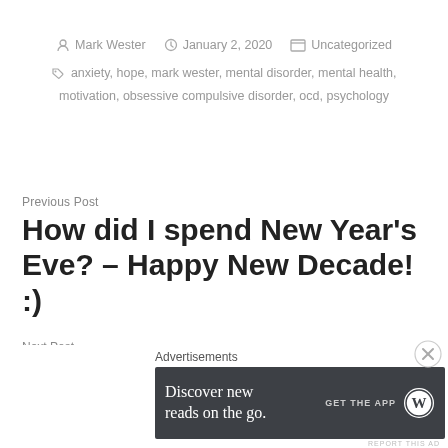Mark Wester  January 2, 2020  Uncategorized
anxiety, hope, mark wester, mental disorder, mental health, motivation, obsessive compulsive disorder, ocd, psychology
Previous Post
How did I spend New Year's Eve? – Happy New Decade! :)
Next Post
Advertisements
[Figure (other): Dark banner advertisement: 'Discover new reads on the go. GET THE APP' with WordPress logo, and a close (X) button]